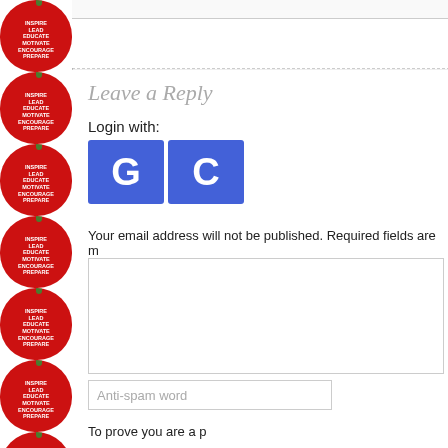[Figure (illustration): Left sidebar with repeating red apple icons containing educational text (INSPIRE, LEAD, EDUCATE, MOTIVATE, ENCOURAGE, PREPARE) with green stems]
Leave a Reply
Login with:
[Figure (other): Two blue square buttons with white letters G and C representing Google and ClassLink login options]
Your email address will not be published. Required fields are m
Anti-spam word
To prove you are a p